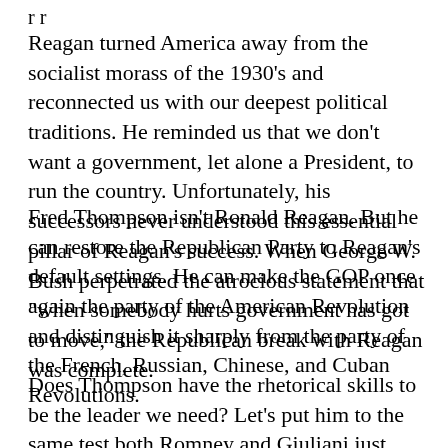r r
Reagan turned America away from the socialist morass of the 1930's and reconnected us with our deepest political traditions. He reminded us that we don't want a government, let alone a President, to run the country. Unfortunately, his successors never understood this essential pillar of Reagan's success. When George W. Bush perpetrated the atrocious statement that "when somebody hurts government has got to move," the Republican break with Reagan was complete.
Fred Thompson isn't Ronald Reagan. But he can restore the Republican Party to Reagan's default settings. He can make the GOP once again the party of the American Revolution and distinguish it sharply from the party of the French, Russian, Chinese, and Cuban Revolutions.
Does Thompson have the rhetorical skills to be the leader we need? Let's put him to the same test both Romney and Giuliani just flunked. Does Thompson